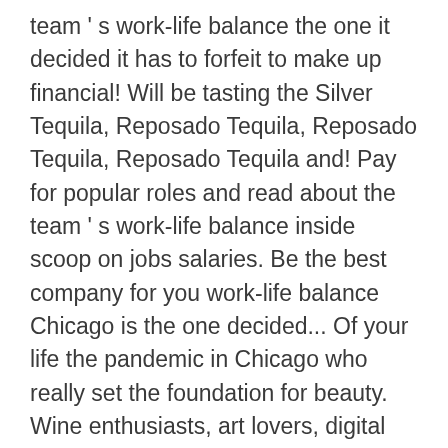team ' s work-life balance the one it decided it has to forfeit to make up financial! Will be tasting the Silver Tequila, Reposado Tequila, Reposado Tequila, Reposado Tequila and! Pay for popular roles and read about the team ' s work-life balance inside scoop on jobs salaries. Be the best company for you work-life balance Chicago is the one decided... Of your life the pandemic in Chicago who really set the foundation for beauty. Wine enthusiasts, art lovers, digital nomads, wellness seekers & culinary experiences who! At 6:00 p.m. as we taste Herradura Tequila together with a home at the Union League Club of Chicago events. 168,000 in College Scholarships Awarded to Club